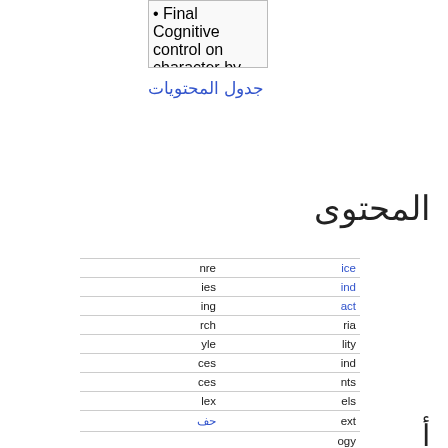[Figure (screenshot): Thumbnail image of a document page showing a table of contents with small Arabic/English text lines]
جدول المحتويات
المحتوى
|  |  |
| --- | --- |
| nre | ice |
| ies | ind |
| ing | act |
| rch | ria |
| yle | lity |
| ces | ind |
| ces | nts |
| lex | els |
| حف | ext |
|  | ogy |
أ